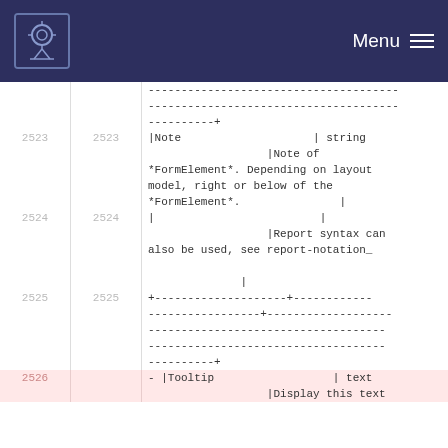Menu
------------------------------------
------------------------------------
----------+
|Note                    | string
                    |Note of *FormElement*. Depending on layout model, right or below of the *FormElement*.                    |
|                              |
                    |Report syntax can also be used, see report-notation_

                    |
+--------------------+------------
-----------------+-------------------
--------------------------------------------
--------------------------------------------
----------+
|Tooltip                  | text
                    |Display this text
2523 2523 |Note | string |Note of *FormElement*. Depending on layout model, right or below of the *FormElement*. |
2524 2524 | | |Report syntax can also be used, see report-notation_ |
2525 2525 +--------------------+------------ -----------------+------------------- --------------------...----------+
2526      - |Tooltip | text |Display this text